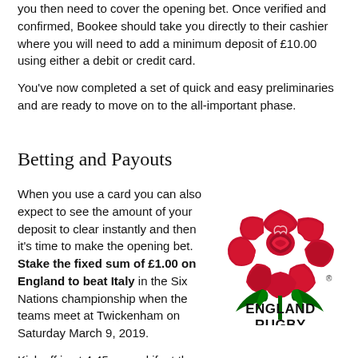you then need to cover the opening bet. Once verified and confirmed, Bookee should take you directly to their cashier where you will need to add a minimum deposit of £10.00 using either a debit or credit card.
You've now completed a set of quick and easy preliminaries and are ready to move on to the all-important phase.
Betting and Payouts
When you use a card you can also expect to see the amount of your deposit to clear instantly and then it's time to make the opening bet. Stake the fixed sum of £1.00 on England to beat Italy in the Six Nations championship when the teams meet at Twickenham on Saturday March 9, 2019.
[Figure (logo): England Rugby rose logo with red rose flower and green leaves, with text ENGLAND RUGBY below]
Kick off is at 4.45pm and if, at the end of 80 minutes, England have won it, payment will come back to you in a two-step process which